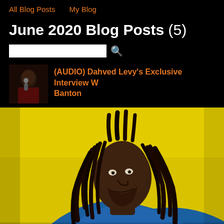All Blog Posts   My Blog
June 2020 Blog Posts (5)
Search box
(AUDIO) Dahved Levy's Exclusive Interview W... Banton
[Figure (photo): Portrait of a man with dreadlocks against a yellow background, wearing a blue jacket]